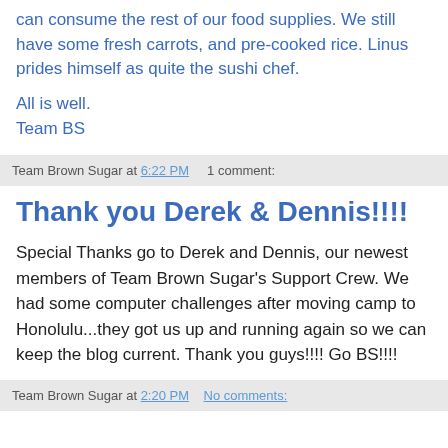can consume the rest of our food supplies. We still have some fresh carrots, and pre-cooked rice. Linus prides himself as quite the sushi chef.
All is well.
Team BS
Team Brown Sugar at 6:22 PM    1 comment:
Thank you Derek & Dennis!!!!
Special Thanks go to Derek and Dennis, our newest members of Team Brown Sugar's Support Crew. We had some computer challenges after moving camp to Honolulu...they got us up and running again so we can keep the blog current. Thank you guys!!!! Go BS!!!!
Team Brown Sugar at 2:20 PM    No comments: